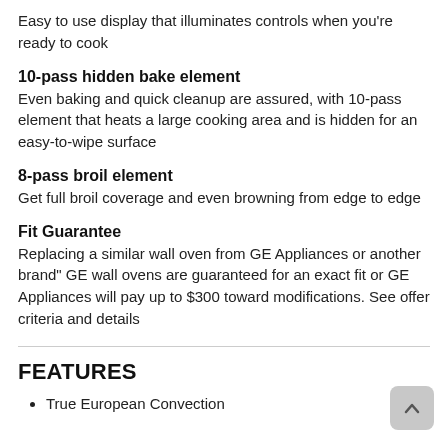Easy to use display that illuminates controls when you're ready to cook
10-pass hidden bake element
Even baking and quick cleanup are assured, with 10-pass element that heats a large cooking area and is hidden for an easy-to-wipe surface
8-pass broil element
Get full broil coverage and even browning from edge to edge
Fit Guarantee
Replacing a similar wall oven from GE Appliances or another brand" GE wall ovens are guaranteed for an exact fit or GE Appliances will pay up to $300 toward modifications. See offer criteria and details
FEATURES
True European Convection